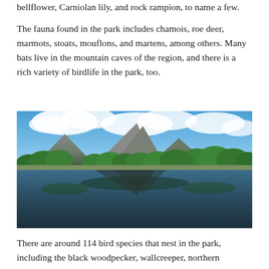bellflower, Carniolan lily, and rock rampion, to name a few.
The fauna found in the park includes chamois, roe deer, marmots, stoats, mouflons, and martens, among others. Many bats live in the mountain caves of the region, and there is a rich variety of birdlife in the park, too.
[Figure (photo): A scenic landscape photograph showing a still mountain lake reflecting green trees and a dramatic rocky mountain peak under a partly cloudy blue sky.]
There are around 114 bird species that nest in the park, including the black woodpecker, wallcreeper, northern